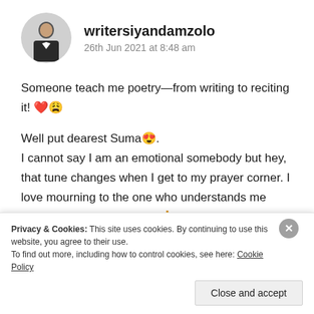writersiyandamzolo
26th Jun 2021 at 8:48 am
Someone teach me poetry—from writing to reciting it! ❤️😩
Well put dearest Suma😍.
I cannot say I am an emotional somebody but hey, that tune changes when I get to my prayer corner. I love mourning to the one who understands me before I even utter a word 🙏.
Privacy & Cookies: This site uses cookies. By continuing to use this website, you agree to their use.
To find out more, including how to control cookies, see here: Cookie Policy
Close and accept